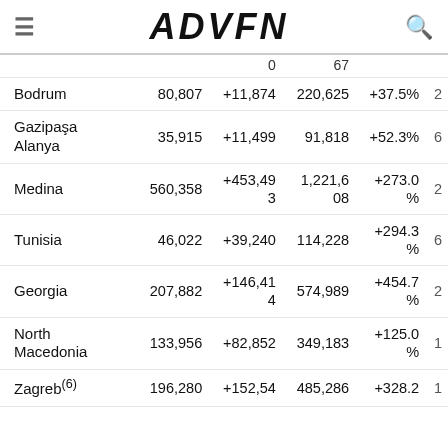ADVFN
| Location | Value1 | Change1 | Value2 | Change2 | Extra |
| --- | --- | --- | --- | --- | --- |
|  | 0 | 67 |  |  |  |
| Bodrum | 80,807 | +11,874 | 220,625 | +37.5% | 2 |
| Gazipaşa Alanya | 35,915 | +11,499 | 91,818 | +52.3% | 6 |
| Medina | 560,358 | +453,493 | 1,221,608 | +273.0% | 2 |
| Tunisia | 46,022 | +39,240 | 114,228 | +294.3% | 6 |
| Georgia | 207,882 | +146,414 | 574,989 | +454.7% | 2 |
| North Macedonia | 133,956 | +82,852 | 349,183 | +125.0% | 1 |
| Zagreb(6) | 196,280 | +152,54 | 485,286 | +328.2 | 1 |